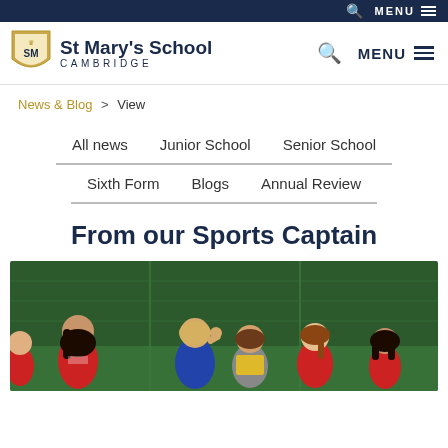St Mary's School Cambridge — MENU
News & Blog > View
All news
Junior School
Senior School
Sixth Form
Blogs
Annual Review
From our Sports Captain
[Figure (photo): Girls in sports kit playing on an outdoor sports pitch with green fencing, some wearing red bibs and one wearing a yellow bib.]